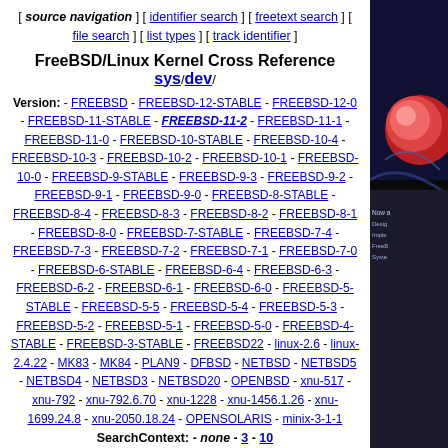[ source navigation ] [ identifier search ] [ freetext search ] [ file search ] [ list types ] [ track identifier ]
FreeBSD/Linux Kernel Cross Reference sys/dev/
Version: - FREEBSD - FREEBSD-12-STABLE - FREEBSD-12-0 - FREEBSD-11-STABLE - FREEBSD-11-2 - FREEBSD-11-1 - FREEBSD-11-0 - FREEBSD-10-STABLE - FREEBSD-10-4 - FREEBSD-10-3 - FREEBSD-10-2 - FREEBSD-10-1 - FREEBSD-10-0 - FREEBSD-9-STABLE - FREEBSD-9-3 - FREEBSD-9-2 - FREEBSD-9-1 - FREEBSD-9-0 - FREEBSD-8-STABLE - FREEBSD-8-4 - FREEBSD-8-3 - FREEBSD-8-2 - FREEBSD-8-1 - FREEBSD-8-0 - FREEBSD-7-STABLE - FREEBSD-7-4 - FREEBSD-7-3 - FREEBSD-7-2 - FREEBSD-7-1 - FREEBSD-7-0 - FREEBSD-6-STABLE - FREEBSD-6-4 - FREEBSD-6-3 - FREEBSD-6-2 - FREEBSD-6-1 - FREEBSD-6-0 - FREEBSD-5-STABLE - FREEBSD-5-5 - FREEBSD-5-4 - FREEBSD-5-3 - FREEBSD-5-2 - FREEBSD-5-1 - FREEBSD-5-0 - FREEBSD-4-STABLE - FREEBSD-3-STABLE - FREEBSD22 - linux-2.6 - linux-2.4.22 - MK83 - MK84 - PLAN9 - DFBSD - NETBSD - NETBSD5 - NETBSD4 - NETBSD3 - NETBSD20 - OPENBSD - xnu-517 - xnu-792 - xnu-792.6.70 - xnu-1228 - xnu-1456.1.26 - xnu-1699.24.8 - xnu-2050.18.24 - OPENSOLARIS - minix-3-1-1
SearchContext: - none - 3 - 10
| Name | Size | Last modified (GMT) | Description |
| --- | --- | --- | --- |
| Parent directory |  | 2019-04-21 14:15:27 |  |